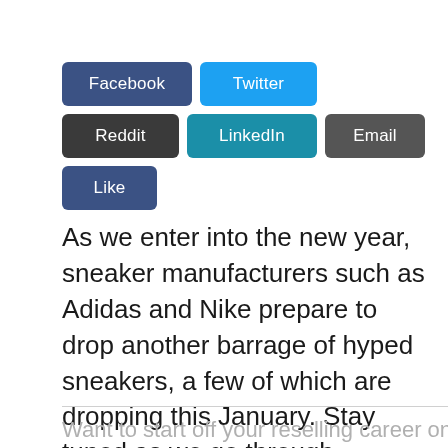[Figure (other): Row of social sharing buttons: Facebook (dark blue), Twitter (light blue), Reddit (dark gray), LinkedIn (teal), Email (gray), Like (dark blue)]
As we enter into the new year, sneaker manufacturers such as Adidas and Nike prepare to drop another barrage of hyped sneakers, a few of which are dropping this January. Stay tuned as we go through January 2022’s hottest sneakers to resell!
Want to start off your reselling career on